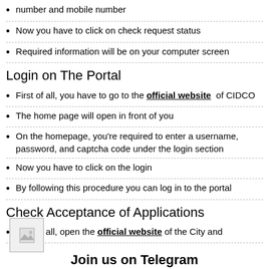number and mobile number
Now you have to click on check request status
Required information will be on your computer screen
Login on The Portal
First of all, you have to go to the official website of CIDCO
The home page will open in front of you
On the homepage, you're required to enter a username, password, and captcha code under the login section
Now you have to click on the login
By following this procedure you can log in to the portal
Check Acceptance of Applications
First of all, open the official website of the City and
[Figure (illustration): Small image placeholder icon]
Join us on Telegram